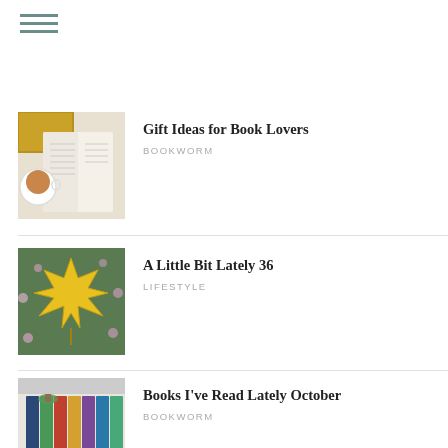[Figure (photo): Open book next to a cup of coffee with yellow knit in background (Gift Ideas for Book Lovers)]
Gift Ideas for Book Lovers
BOOKWORM
[Figure (photo): Yellow maple leaf on green leaves background (A Little Bit Lately 36)]
A Little Bit Lately 36
LIFESTYLE
[Figure (photo): Stack of books with spines showing, colorful (Books I've Read Lately October)]
Books I've Read Lately October
BOOKWORM
[Figure (photo): Books stacked with a small plant, colorful covers (Books I've Read Lately September)]
Books I've Read Lately September
BOOKWORM